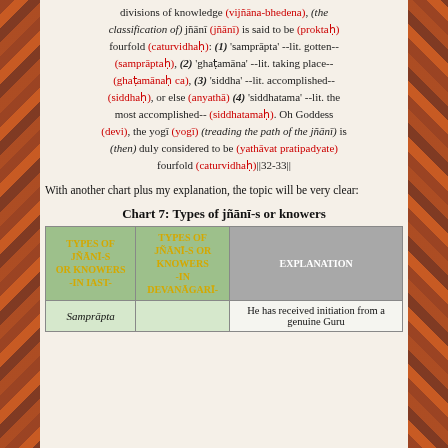divisions of knowledge (vijñāna-bhedena), (the classification of) jñānī (jñānī) is said to be (proktaḥ) fourfold (caturvidhaḥ): (1) 'samprāpta' --lit. gotten-- (samprāptaḥ), (2) 'ghaṭamāna' --lit. taking place-- (ghaṭamānaḥ ca), (3) 'siddha' --lit. accomplished-- (siddhaḥ), or else (anyathā) (4) 'siddhatama' --lit. the most accomplished-- (siddhatamаḥ). Oh Goddess (devi), the yogī (yogī) (treading the path of the jñānī) is (then) duly considered to be (yathāvat pratipadyate) fourfold (caturvidhaḥ)||32-33||
With another chart plus my explanation, the topic will be very clear:
Chart 7: Types of jñānī-s or knowers
| TYPES OF JÑĀNĪ-S OR KNOWERS -In IAST- | TYPES OF JÑĀNĪ-S OR KNOWERS -In devanāgarī- | EXPLANATION |
| --- | --- | --- |
| Samprāpta |  | He has received initiation from a genuine Guru |